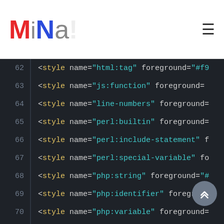MiNa!
[Figure (screenshot): Code editor screenshot showing XML/style tag definitions with line numbers 62–78 on a dark background. Lines show <style name=... foreground=... attributes for html:tag, js:function, line-numbers, perl:builtin, perl:include-statement, perl:special-variable, php:string, php:identifier, php:variable, blank line 71, python:builtin-constant, python:builtin-function, python:module-handler, python:special-variable, ruby:attribute-defin..., ruby:global-variable..., ruby:module-handler...]